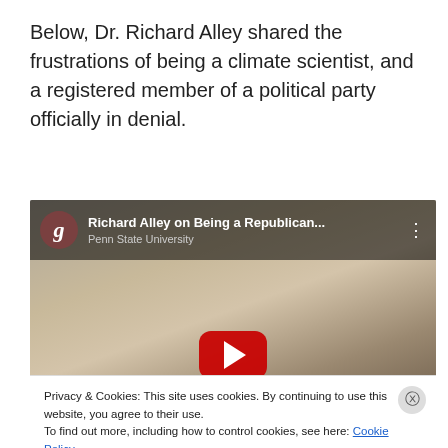Below, Dr. Richard Alley shared the frustrations of being a climate scientist, and a registered member of a political party officially in denial.
[Figure (screenshot): YouTube video embed showing Richard Alley on Being a Republican... from Penn State University, with a play button overlay. A cookie consent bar overlays the bottom with 'Privacy & Cookies' notice and a 'Close and accept' button.]